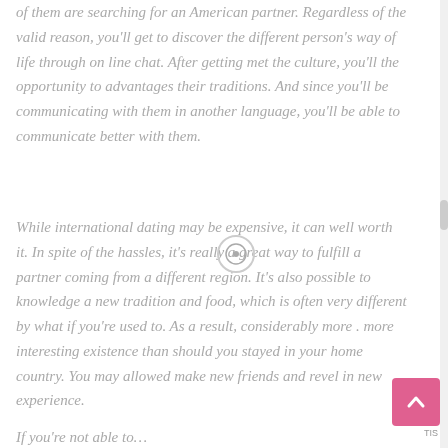of them are searching for an American partner. Regardless of the valid reason, you'll get to discover the different person's way of life through on line chat. After getting met the culture, you'll the opportunity to advantages their traditions. And since you'll be communicating with them in another language, you'll be able to communicate better with them.
While international dating may be expensive, it can well worth it. In spite of the hassles, it's really a great way to fulfill a partner coming from a different region. It's also possible to knowledge a new tradition and food, which is often very different by what if you're used to. As a result, considerably more . more interesting existence than should you stayed in your home country. You may allowed make new friends and revel in new experience.
If you're not able to…